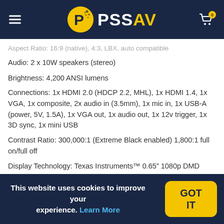PSSAV
Aspect Ratio: 16:9 (native), 4:3, LBX, auto compatible
Audio: 2 x 10W speakers (stereo)
Brightness: 4,200 ANSI lumens
Connections: 1x HDMI 2.0 (HDCP 2.2, MHL), 1x HDMI 1.4, 1x VGA, 1x composite, 2x audio in (3.5mm), 1x mic in, 1x USB-A (power, 5V, 1.5A), 1x VGA out, 1x audio out, 1x 12v trigger, 1x 3D sync, 1x mini USB
Contrast Ratio: 300,000:1 (Extreme Black enabled) 1,800:1 full on/full off
Display Technology: Texas Instruments™ 0.65" 1080p DMD
Displayable Colors: 1.07 billion
Keystone Correction: ±30° vertical and horizontal, auto keystone
Light Source Type: DuraCore laser
Light Source Life: Up to 30,000 hrs (Eco), 20,000 hrs (Normal)
This website uses cookies to improve your experience. Learn More  GOT IT